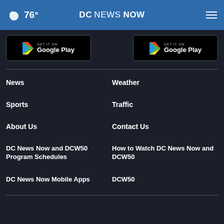76° DC NEWS NOW
[Figure (logo): Google Play badge (left)]
[Figure (logo): Google Play badge (right)]
News
Weather
Sports
Traffic
About Us
Contact Us
DC News Now and DCW50 Program Schedules
How to Watch DC News Now and DCW50
DC News Now Mobile Apps
DCW50